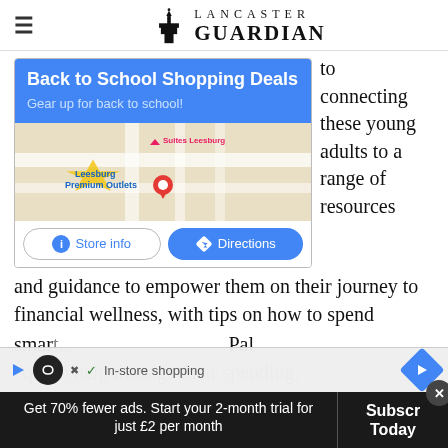Lancaster Guardian
[Figure (screenshot): Google Maps ad card showing Back to School Shopping Deals at Leesburg Premium Outlets with Store info and Directions buttons]
to connecting these young adults to a range of resources and guidance to empower them on their journey to financial wellness, with tips on how to spend smart... Pal App to help manage their spending.
Get 70% fewer ads. Start your 2-month trial for just £2 per month
Subscribe Today